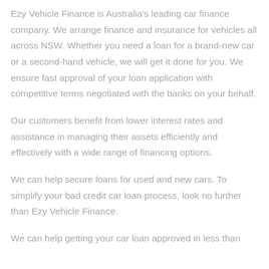Ezy Vehicle Finance is Australia's leading car finance company. We arrange finance and insurance for vehicles all across NSW. Whether you need a loan for a brand-new car or a second-hand vehicle, we will get it done for you. We ensure fast approval of your loan application with competitive terms negotiated with the banks on your behalf.
Our customers benefit from lower interest rates and assistance in managing their assets efficiently and effectively with a wide range of financing options.
We can help secure loans for used and new cars. To simplify your bad credit car loan process, look no further than Ezy Vehicle Finance.
We can help getting your car loan approved in less than